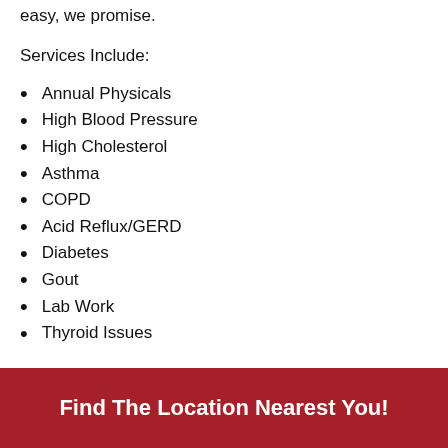easy, we promise.
Services Include:
Annual Physicals
High Blood Pressure
High Cholesterol
Asthma
COPD
Acid Reflux/GERD
Diabetes
Gout
Lab Work
Thyroid Issues
Find The Location Nearest You!